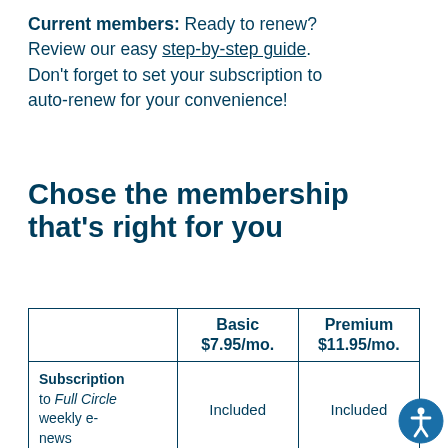Current members: Ready to renew? Review our easy step-by-step guide. Don't forget to set your subscription to auto-renew for your convenience!
Chose the membership that's right for you
|  | Basic $7.95/mo. | Premium $11.95/mo. |
| --- | --- | --- |
| Subscription to Full Circle weekly e-news | Included | Included |
| Preferred |  |  |